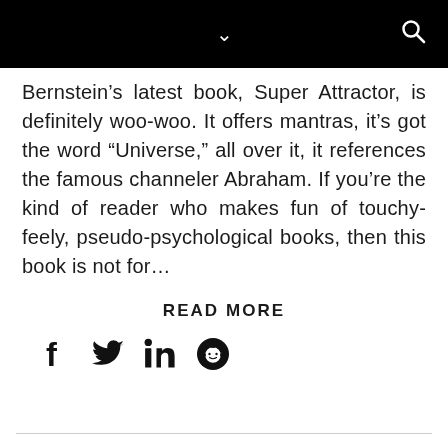Bernstein's latest book, Super Attractor, is definitely woo-woo. It offers mantras, it's got the word “Universe,” all over it, it references the famous channeler Abraham. If you’re the kind of reader who makes fun of touchy-feely, pseudo-psychological books, then this book is not for…
READ MORE
[Figure (other): Social media share icons: Facebook, Twitter, LinkedIn, Reddit]